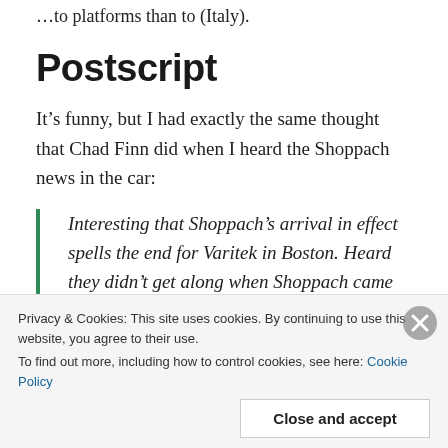...to platforms than to (Italy).
Postscript
It’s funny, but I had exactly the same thought that Chad Finn did when I heard the Shoppach news in the car:
Interesting that Shoppach’s arrival in effect spells the end for Varitek in Boston. Heard they didn’t get along when Shoppach came up w/Sox.
Chad Finn (@GlobeChadFinn) December 13
Privacy & Cookies: This site uses cookies. By continuing to use this website, you agree to their use. To find out more, including how to control cookies, see here: Cookie Policy
Close and accept